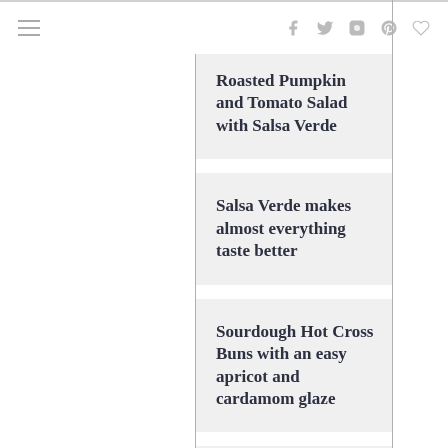≡  f  tw  ig  p  ♡
Roasted Pumpkin and Tomato Salad with Salsa Verde
Salsa Verde makes almost everything taste better
Sourdough Hot Cross Buns with an easy apricot and cardamom glaze
Tomato and Grape